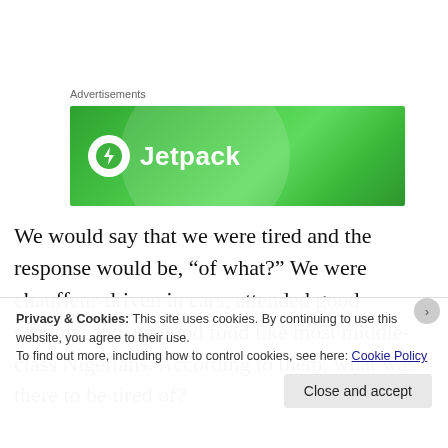Advertisements
[Figure (logo): Jetpack advertisement banner — green background with Jetpack logo (white lightning bolt in circle) and white 'Jetpack' text]
We would say that we were tired and the response would be, “of what?” We were chauffeur-driven in cars, attended good schools, and ate good food like most middle-class Nigerians. According to them, what was there to be tired of?
Privacy & Cookies: This site uses cookies. By continuing to use this website, you agree to their use.
To find out more, including how to control cookies, see here: Cookie Policy
Close and accept